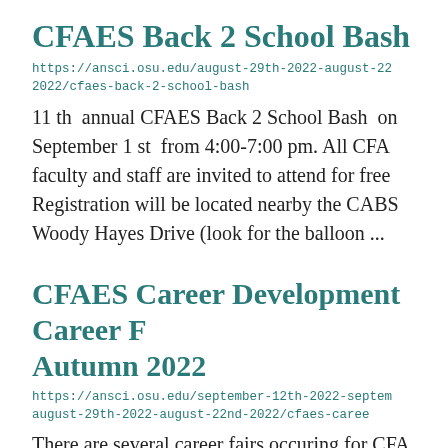CFAES Back 2 School Bash
https://ansci.osu.edu/august-29th-2022-august-22-2022/cfaes-back-2-school-bash
11 th annual CFAES Back 2 School Bash on September 1 st from 4:00-7:00 pm. All CFAE faculty and staff are invited to attend for free. Registration will be located nearby the CABS Woody Hayes Drive (look for the balloon ...
CFAES Career Development Career F Autumn 2022
https://ansci.osu.edu/september-12th-2022-septem august-29th-2022-august-22nd-2022/cfaes-caree
There are several career fairs occuring for CFA students this fall! Click each link for more info